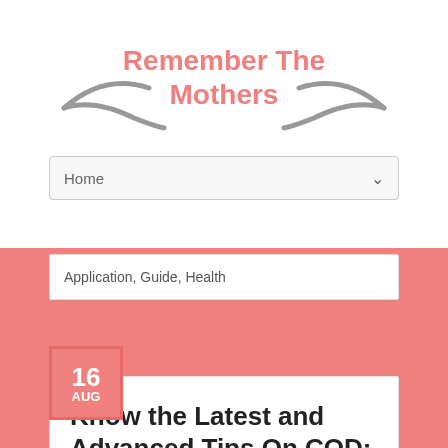[Figure (logo): Remember The Mothers blog logo with decorative swoosh/stick lines in gray and pink text]
Home
Application, Guide, Health
16 AUG
Know the Latest and Advanced Tips On COD: Warzone